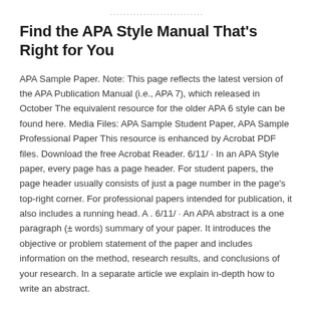............................................
Find the APA Style Manual That's Right for You
APA Sample Paper. Note: This page reflects the latest version of the APA Publication Manual (i.e., APA 7), which released in October The equivalent resource for the older APA 6 style can be found here. Media Files: APA Sample Student Paper, APA Sample Professional Paper This resource is enhanced by Acrobat PDF files. Download the free Acrobat Reader. 6/11/ · In an APA Style paper, every page has a page header. For student papers, the page header usually consists of just a page number in the page's top-right corner. For professional papers intended for publication, it also includes a running head. A . 6/11/ · An APA abstract is a one paragraph (± words) summary of your paper. It introduces the objective or problem statement of the paper and includes information on the method, research results, and conclusions of your research. In a separate article we explain in-depth how to write an abstract.